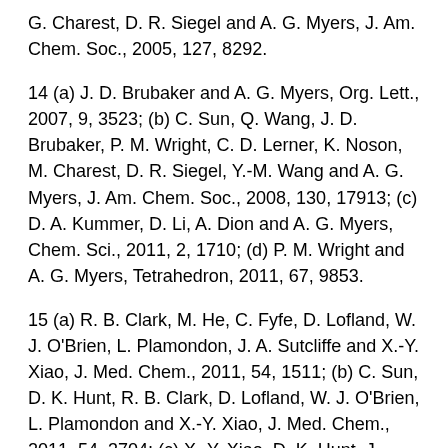G. Charest, D. R. Siegel and A. G. Myers, J. Am. Chem. Soc., 2005, 127, 8292.
14 (a) J. D. Brubaker and A. G. Myers, Org. Lett., 2007, 9, 3523; (b) C. Sun, Q. Wang, J. D. Brubaker, P. M. Wright, C. D. Lerner, K. Noson, M. Charest, D. R. Siegel, Y.-M. Wang and A. G. Myers, J. Am. Chem. Soc., 2008, 130, 17913; (c) D. A. Kummer, D. Li, A. Dion and A. G. Myers, Chem. Sci., 2011, 2, 1710; (d) P. M. Wright and A. G. Myers, Tetrahedron, 2011, 67, 9853.
15 (a) R. B. Clark, M. He, C. Fyfe, D. Lofland, W. J. O'Brien, L. Plamondon, J. A. Sutcliffe and X.-Y. Xiao, J. Med. Chem., 2011, 54, 1511; (b) C. Sun, D. K. Hunt, R. B. Clark, D. Lofland, W. J. O'Brien, L. Plamondon and X.-Y. Xiao, J. Med. Chem., 2011, 54, 3704; (c) X.-Y. Xiao, D. K. Hunt, J. Zhou, R. B. Clark, N. Dunwoody, C. Fyfe, T. H.